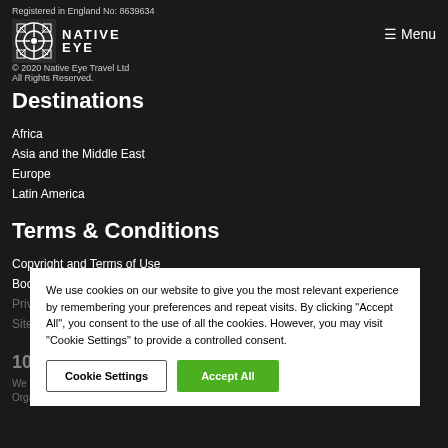Registered in England No: 8639634
© 2020 Native Eye Travel Ltd
All Rights Reserved.
Destinations
Africa
Asia and the Middle East
Europe
Latin America
Terms & Conditions
Copyright and Terms of Use
Booking Conditions
Privacy Policy
Sitemap
100% Financial Protection
We are members of the Travel Trust Association, a trade body for Tour Operators and Travel Organisers that operate trust accounts in order to provide financial protection for the
We use cookies on our website to give you the most relevant experience by remembering your preferences and repeat visits. By clicking "Accept All", you consent to the use of all the cookies. However, you may visit "Cookie Settings" to provide a controlled consent.